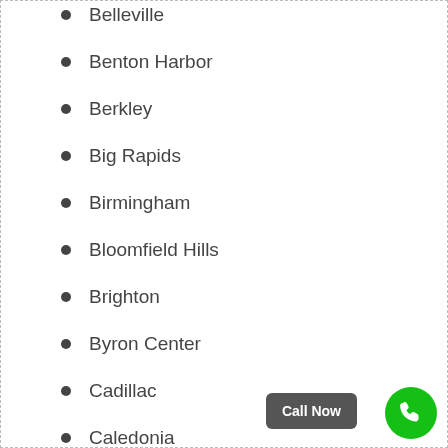Belleville
Benton Harbor
Berkley
Big Rapids
Birmingham
Bloomfield Hills
Brighton
Byron Center
Cadillac
Caledonia